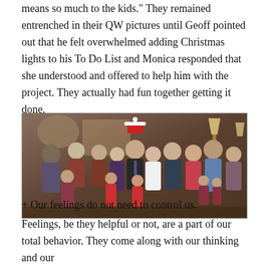means so much to the kids." They remained entrenched in their QW pictures until Geoff pointed out that he felt overwhelmed adding Christmas lights to his To Do List and Monica responded that she understood and offered to help him with the project. They actually had fun together getting it done.
[Figure (photo): Group family Christmas photo with many people including children and adults, one person wearing a Santa hat, indoor holiday setting]
+ Our feelings do not need to control us.
Feelings, be they helpful or not, are a part of our total behavior. They come along with our thinking and our